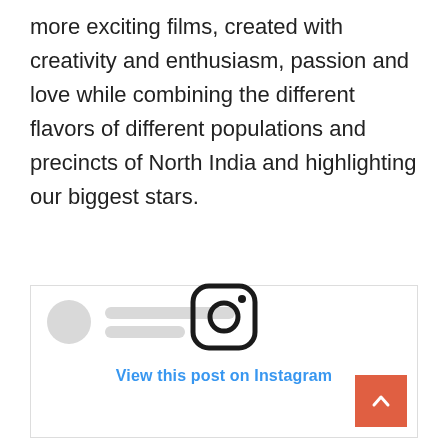more exciting films, created with creativity and enthusiasm, passion and love while combining the different flavors of different populations and precincts of North India and highlighting our biggest stars.
[Figure (screenshot): An embedded Instagram post placeholder showing a blurred profile avatar and two grey placeholder lines for the account name, with the Instagram camera logo icon in the center, and a 'View this post on Instagram' link in blue below the icon.]